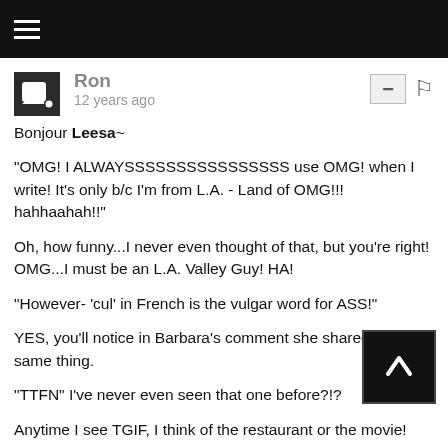Navigation bar with hamburger menu
Ron
12 years ago
Bonjour Leesa~

"OMG! I ALWAYSSSSSSSSSSSSSSSS use OMG! when I write! It's only b/c I'm from L.A. - Land of OMG!!! hahhaahah!!"

Oh, how funny...I never even thought of that, but you're right! OMG...I must be an L.A. Valley Guy! HA!

"However- 'cul' in French is the vulgar word for ASS!"

YES, you'll notice in Barbara's comment she shared the same thing.

"TTFN" I've never even seen that one before?!?

Anytime I see TGIF, I think of the restaurant or the movie!